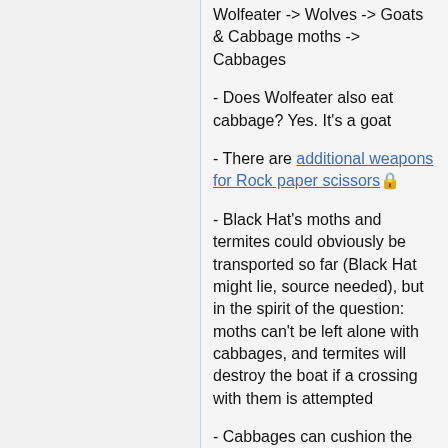Wolfeater -> Wolves -> Goats & Cabbage moths -> Cabbages
- Does Wolfeater also eat cabbage? Yes. It's a goat
- There are additional weapons for Rock paper scissors 🔒
- Black Hat's moths and termites could obviously be transported so far (Black Hat might lie, source needed), but in the spirit of the question: moths can't be left alone with cabbages, and termites will destroy the boat if a crossing with them is attempted
- Cabbages can cushion the trolley, and still function as cabbages afterwards. Has...